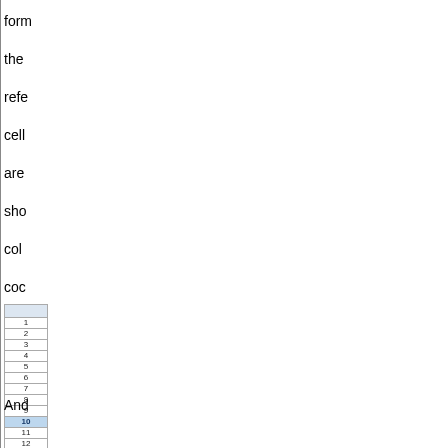form the refe cell are sho col coc
[Figure (screenshot): Spreadsheet showing row numbers 1 through 12 (partially visible), with row 10 highlighted in blue/selected state. A header row is visible at top.]
And if you ma the